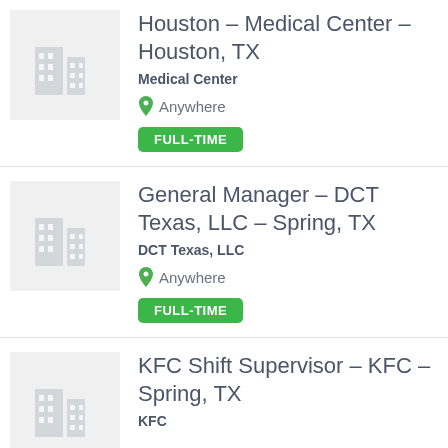[Figure (illustration): Building/office placeholder icon on grey background]
Houston – Medical Center – Houston, TX
Medical Center
Anywhere
FULL-TIME
[Figure (illustration): Building/office placeholder icon on grey background]
General Manager – DCT Texas, LLC – Spring, TX
DCT Texas, LLC
Anywhere
FULL-TIME
[Figure (illustration): Building/office placeholder icon on grey background]
KFC Shift Supervisor – KFC – Spring, TX
KFC